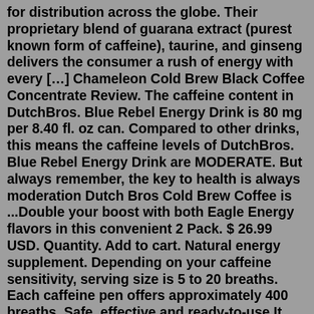for distribution across the globe. Their proprietary blend of guarana extract (purest known form of caffeine), taurine, and ginseng delivers the consumer a rush of energy with every […] Chameleon Cold Brew Black Coffee Concentrate Review. The caffeine content in DutchBros. Blue Rebel Energy Drink is 80 mg per 8.40 fl. oz can. Compared to other drinks, this means the caffeine levels of DutchBros. Blue Rebel Energy Drink are MODERATE. But always remember, the key to health is always moderation Dutch Bros Cold Brew Coffee is ...Double your boost with both Eagle Energy flavors in this convenient 2 Pack. $ 26.99 USD. Quantity. Add to cart. Natural energy supplement. Depending on your caffeine sensitivity, serving size is 5 to 20 breaths. Each caffeine pen offers approximately 400 breaths. Safe, effective and ready-to-use.It just came across my timeline today. I was shocked that HelloGiggles picked the story up. While the story doesn't have a lot to say about vaping nicotine, it is pretty heavy handed